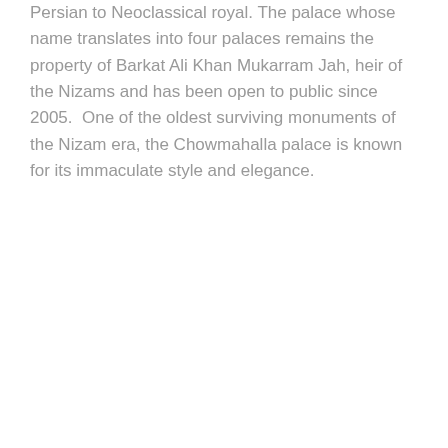Persian to Neoclassical royal. The palace whose name translates into four palaces remains the property of Barkat Ali Khan Mukarram Jah, heir of the Nizams and has been open to public since 2005.  One of the oldest surviving monuments of the Nizam era, the Chowmahalla palace is known for its immaculate style and elegance.